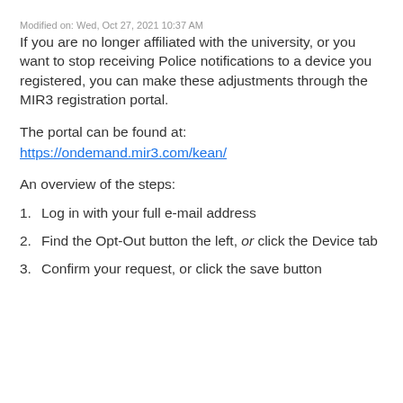Modified on: Wed, Oct 27, 2021 10:37 AM
If you are no longer affiliated with the university, or you want to stop receiving Police notifications to a device you registered, you can make these adjustments through the MIR3 registration portal.
The portal can be found at:
https://ondemand.mir3.com/kean/
An overview of the steps:
1. Log in with your full e-mail address
2. Find the Opt-Out button the left, or click the Device tab
3. Confirm your request, or click the save button